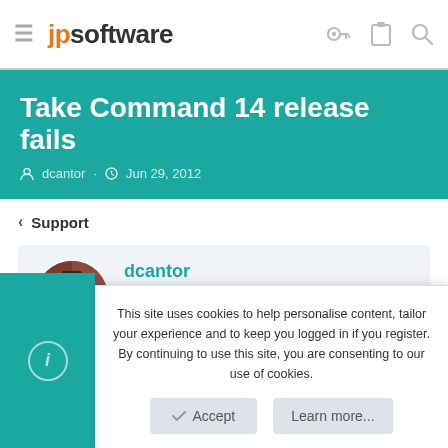jpsoftware
Take Command 14 release fails
dcantor · Jun 29, 2012
< Support
dcantor
This site uses cookies to help personalise content, tailor your experience and to keep you logged in if you register. By continuing to use this site, you are consenting to our use of cookies.
Accept   Learn more...